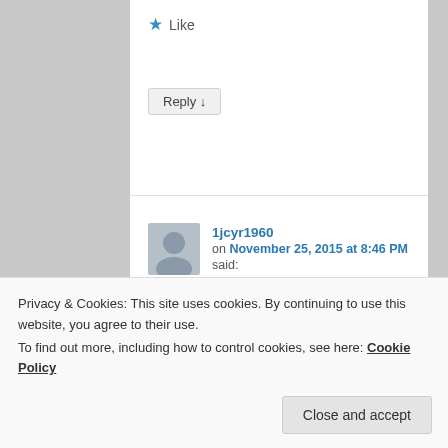★ Like
Reply ↓
1jcyr1960
on November 25, 2015 at 8:46 PM said:
Thank you very much for your kind words!
A Z Eller
★ Like
Privacy & Cookies: This site uses cookies. By continuing to use this website, you agree to their use.
To find out more, including how to control cookies, see here: Cookie Policy
Close and accept